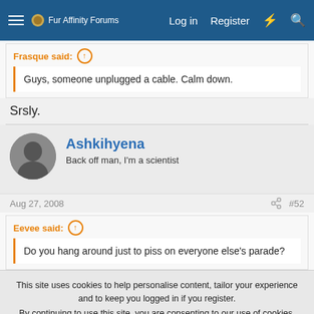Fur Affinity Forums  Log in  Register
Frasque said: ↑
Guys, someone unplugged a cable. Calm down.
Srsly.
Ashkihyena
Back off man, I'm a scientist
Aug 27, 2008  #52
Eevee said: ↑
Do you hang around just to piss on everyone else's parade?
This site uses cookies to help personalise content, tailor your experience and to keep you logged in if you register.
By continuing to use this site, you are consenting to our use of cookies.